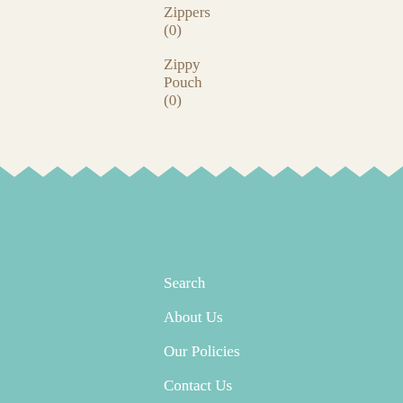Zippers (0)
Zippy Pouch (0)
Search
About Us
Our Policies
Contact Us
Sign Up for our Newsletter
Subscribe to our newsletter and always be the first to hear about what is happening.
Enter your email address...
SIGN UP